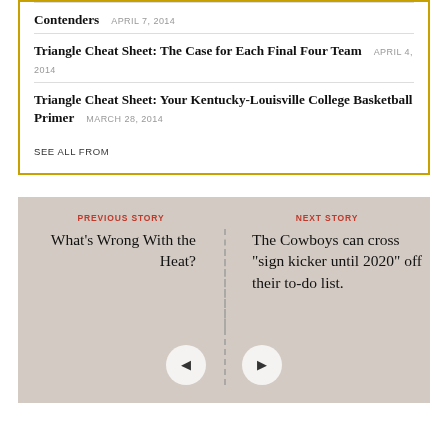Contenders  APRIL 7, 2014
Triangle Cheat Sheet: The Case for Each Final Four Team  APRIL 4, 2014
Triangle Cheat Sheet: Your Kentucky-Louisville College Basketball Primer  MARCH 28, 2014
SEE ALL FROM
PREVIOUS STORY
NEXT STORY
What's Wrong With the Heat?
The Cowboys can cross "sign kicker until 2020" off their to-do list.